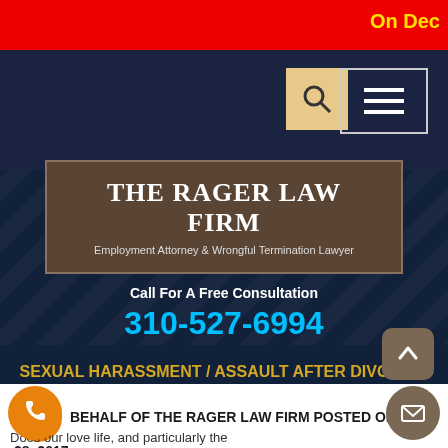On Dec
[Figure (screenshot): Navigation bar with search and hamburger menu icons on dark navy background]
THE RAGER LAW FIRM
Employment Attorney & Wrongful Termination Lawyer
Call For A Free Consultation
310-527-6994
SEXUAL HARASSMENT / ASSAULT AFTER DIVORCE: WHAT DO LOS ANGELES COURTS THINK ABOUT IT?
ON BEHALF OF THE RAGER LAW FIRM POSTED ON DECEMBER 28, 2017
Does our love life, and particularly the